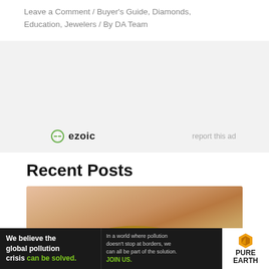Leave a Comment / Buyer's Guide, Diamonds, Education, Jewelers / By DA Team
[Figure (other): Ezoic advertisement placeholder with ezoic logo and 'report this ad' link on gray background]
Recent Posts
[Figure (photo): Close-up photo of a gold diamond-encrusted ring on a finger]
[Figure (other): Pure Earth advertisement banner: 'We believe the global pollution crisis can be solved. In a world where pollution doesn't stop at borders, we can all be part of the solution. JOIN US.' with Pure Earth logo]